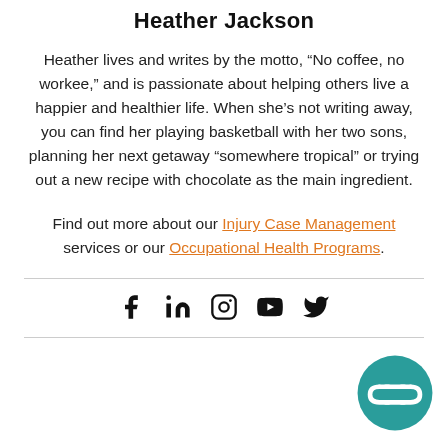Heather Jackson
Heather lives and writes by the motto, “No coffee, no workee,” and is passionate about helping others live a happier and healthier life. When she’s not writing away, you can find her playing basketball with her two sons, planning her next getaway “somewhere tropical” or trying out a new recipe with chocolate as the main ingredient.
Find out more about our Injury Case Management services or our Occupational Health Programs.
[Figure (infographic): Social media icons row: Facebook, LinkedIn, Instagram, YouTube, Twitter]
[Figure (logo): Occupational health company logo — teal circle with interlinked chain/link icon in white]